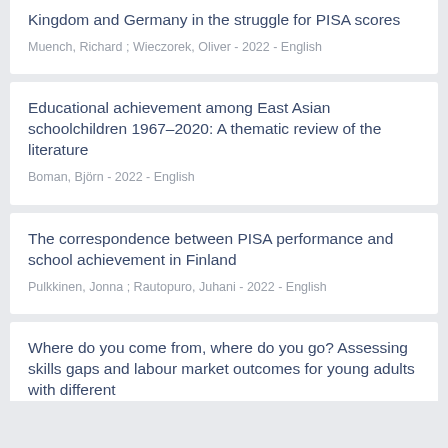Kingdom and Germany in the struggle for PISA scores
Muench, Richard ; Wieczorek, Oliver - 2022 - English
Educational achievement among East Asian schoolchildren 1967–2020: A thematic review of the literature
Boman, Björn - 2022 - English
The correspondence between PISA performance and school achievement in Finland
Pulkkinen, Jonna ; Rautopuro, Juhani - 2022 - English
Where do you come from, where do you go? Assessing skills gaps and labour market outcomes for young adults with different